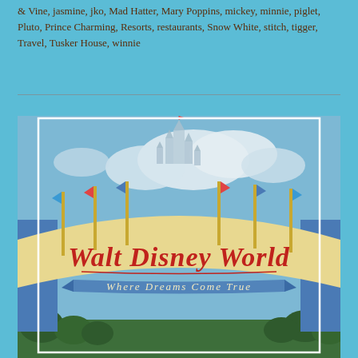& Vine, jasmine, jko, Mad Hatter, Mary Poppins, mickey, minnie, piglet, Pluto, Prince Charming, Resorts, restaurants, Snow White, stitch, tigger, Travel, Tusker House, winnie
[Figure (photo): Photo of the Walt Disney World entrance arch sign with a Cinderella castle silhouette in the background. The arch reads 'Walt Disney World' in red cursive letters, with a banner below saying 'Where Dreams Come True'. Colorful flags decorate the top of the arch. Blue sky with clouds in the background, green trees at the bottom.]